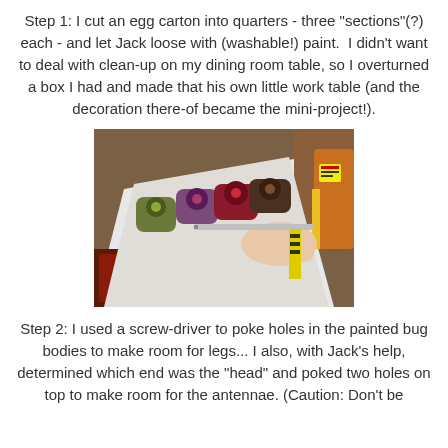Step 1: I cut an egg carton into quarters - three "sections"(?) each - and let Jack loose with (washable!) paint.  I didn't want to deal with clean-up on my dining room table, so I overturned a box I had and made that his own little work table (and the decoration there-of became the mini-project!).
[Figure (photo): A child's hand holding a painted egg carton section on a white surface, with colorful painted bug bodies visible. Wooden table and colorful items in background.]
Step 2: I used a screw-driver to poke holes in the painted bug bodies to make room for legs... I also, with Jack's help, determined which end was the "head" and poked two holes on top to make room for the antennae. (Caution: Don't be